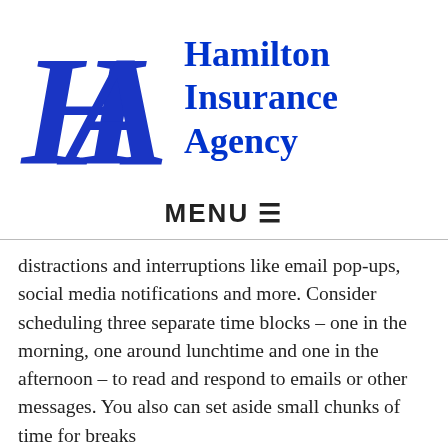[Figure (logo): Hamilton Insurance Agency logo with stylized 'HA' monogram in blue and text 'Hamilton Insurance Agency' in blue serif font]
MENU ☰
distractions and interruptions like email pop-ups, social media notifications and more. Consider scheduling three separate time blocks – one in the morning, one around lunchtime and one in the afternoon – to read and respond to emails or other messages. You also can set aside small chunks of time for breaks